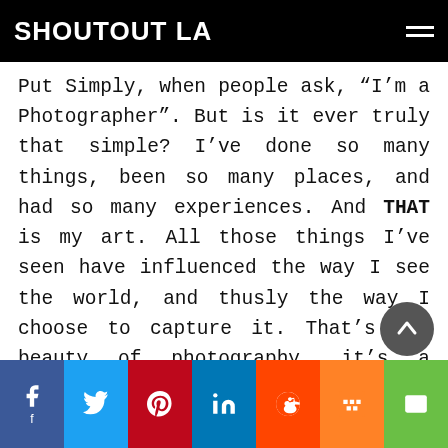SHOUTOUT LA
Put Simply, when people ask, “I’m a Photographer”. But is it ever truly that simple? I’ve done so many things, been so many places, and had so many experiences. And THAT is my art. All those things I’ve seen have influenced the way I see the world, and thusly the way I choose to capture it. That’s the beauty of photography, it’s a majestically individual practice. Every photographer sees the world differently, through the kaleidoscope lense of their experiences. My time spent working in Alaska taught me to minimize. My time as a carpenter taught me tangible skills to build out my own studio. All of these moments create an